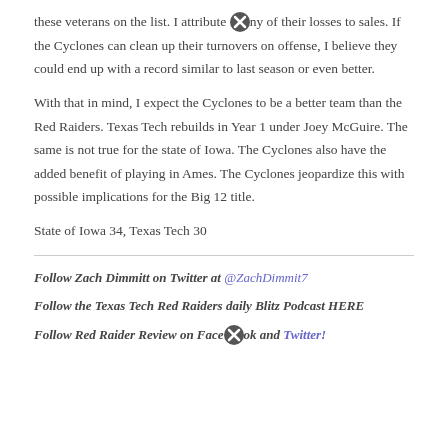these veterans on the list. I attribute many of their losses to sales. If the Cyclones can clean up their turnovers on offense, I believe they could end up with a record similar to last season or even better.
With that in mind, I expect the Cyclones to be a better team than the Red Raiders. Texas Tech rebuilds in Year 1 under Joey McGuire. The same is not true for the state of Iowa. The Cyclones also have the added benefit of playing in Ames. The Cyclones jeopardize this with possible implications for the Big 12 title.
State of Iowa 34, Texas Tech 30
Follow Zach Dimmitt on Twitter at @ZachDimmit7
Follow the Texas Tech Red Raiders daily Blitz Podcast HERE
Follow Red Raider Review on Facebook and Twitter!